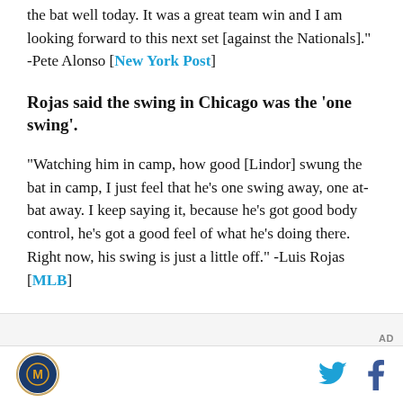the bat well today. It was a great team win and I am looking forward to this next set [against the Nationals]." -Pete Alonso [New York Post]
Rojas said the swing in Chicago was the ‘one swing’.
“Watching him in camp, how good [Lindor] swung the bat in camp, I just feel that he’s one swing away, one at-bat away. I keep saying it, because he’s got good body control, he’s got a good feel of what he’s doing there. Right now, his swing is just a little off.” -Luis Rojas [MLB]
[Figure (logo): Site logo circular baseball icon, bottom left footer]
[Figure (logo): Twitter bird icon, bottom right footer]
[Figure (logo): Facebook f icon, bottom right footer]